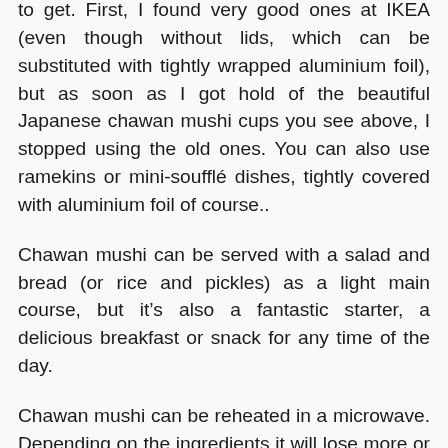to get. First, I found very good ones at IKEA (even though without lids, which can be substituted with tightly wrapped aluminium foil), but as soon as I got hold of the beautiful Japanese chawan mushi cups you see above, I stopped using the old ones. You can also use ramekins or mini-soufflé dishes, tightly covered with aluminium foil of course..
Chawan mushi can be served with a salad and bread (or rice and pickles) as a light main course, but it's also a fantastic starter, a delicious breakfast or snack for any time of the day.
Chawan mushi can be reheated in a microwave. Depending on the ingredients it will lose more or less of its flavours, but it's still delicious and handy as a quick snack or breakfast.